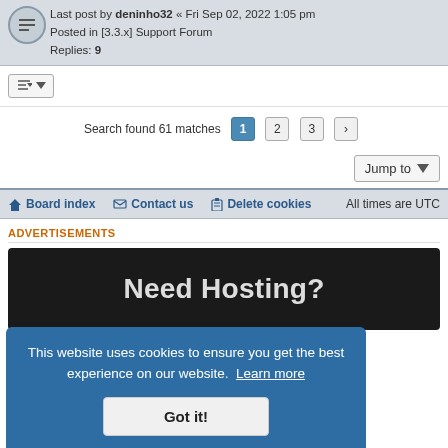Last post by deninho32 « Fri Sep 02, 2022 1:05 pm
Posted in [3.3.x] Support Forum
Replies: 9
Search found 61 matches  1  2  3  >
Jump to
Board index   Contact us   Delete cookies   All times are UTC
ADVERTISEMENTS
[Figure (screenshot): Advertisement banner with dark background showing 'Need Hosting?' text]
This website uses cookies to ensure you get the best experience on our website. Learn more
Got it!